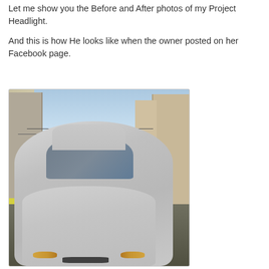Let me show you the Before and After photos of my Project Headlight.
And this is how He looks like when the owner posted on her Facebook page.
[Figure (photo): Front view of a silver Honda Civic sedan parked in an urban street, with yellow-tinted foggy headlights, surrounded by buildings and other vehicles in the background.]